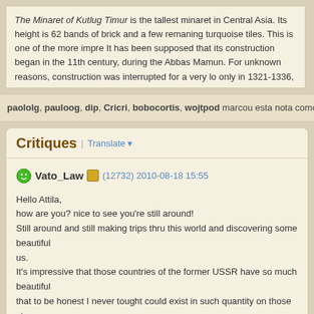The Minaret of Kutlug Timur is the tallest minaret in Central Asia. Its height is 62... bands of brick and a few remaning turquoise tiles. This is one of the more impre... It has been supposed that its construction began in the 11th century, during the... Abbas Mamun. For unknown reasons, construction was interrupted for a very lo... only in 1321-1336, in the time of Kutlug-Timur (the vice-regent of the Golden Ho...
paololg, pauloog, dip, Cricri, bobocortis, wojtpod marcou esta nota como út...
Critiques | Translate
Vato_Law (12732) 2010-08-18 15:55

Hello Attila,
how are you? nice to see you're still around!
Still around and still making trips thru this world and discovering some beautiful...
us.
It's impressive that those countries of the former USSR have so much beautiful...
that to be honest I never tought could exist in such quantity on those stops.

Cheers,
Paulo
paololg (21449) 2010-08-18 16:26